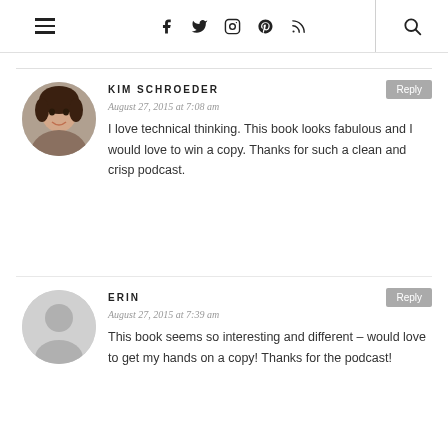navigation header with hamburger menu, social icons (facebook, twitter, instagram, pinterest, rss), and search
KIM SCHROEDER
August 27, 2015 at 7:08 am
I love technical thinking. This book looks fabulous and I would love to win a copy. Thanks for such a clean and crisp podcast.
ERIN
August 27, 2015 at 7:39 am
This book seems so interesting and different – would love to get my hands on a copy! Thanks for the podcast!